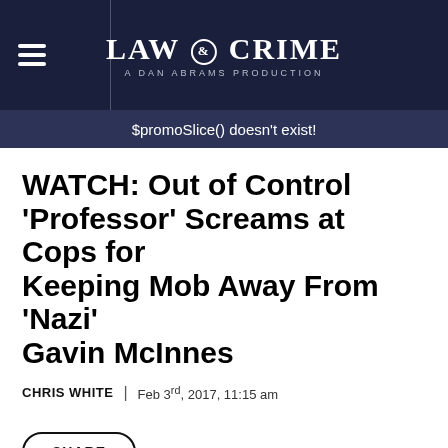LAW & CRIME A DAN ABRAMS PRODUCTION
$promoSlice() doesn't exist!
WATCH: Out of Control ‘Professor’ Screams at Cops for Keeping Mob Away From ‘Nazi’ Gavin McInnes
CHRIS WHITE | Feb 3rd, 2017, 11:15 am
SHARE